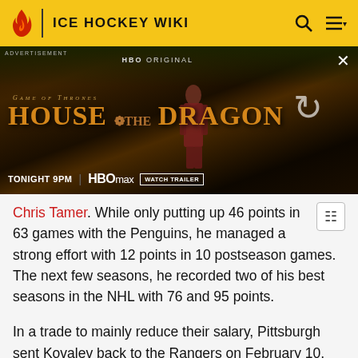ICE HOCKEY WIKI
[Figure (photo): Advertisement banner for HBO Original Game of Thrones: House of the Dragon. Tonight 9PM on HBO Max. Watch Trailer. Features a dark fantasy background with a person in royal dress and a large dragon.]
Chris Tamer. While only putting up 46 points in 63 games with the Penguins, he managed a strong effort with 12 points in 10 postseason games. The next few seasons, he recorded two of his best seasons in the NHL with 76 and 95 points.
In a trade to mainly reduce their salary, Pittsburgh sent Kovalev back to the Rangers on February 10, 2003. He was sent, along with Dan LaCouture, Janne Laukkanen